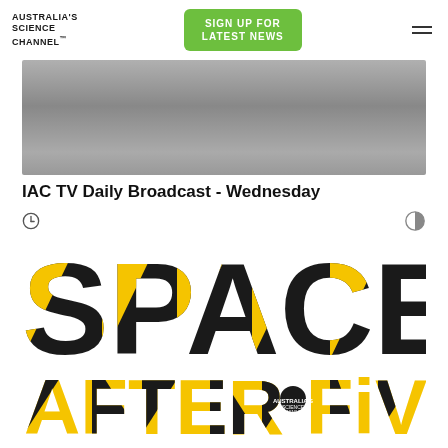AUSTRALIA'S SCIENCE CHANNEL™
SIGN UP FOR LATEST NEWS
[Figure (screenshot): Dark grey/silver gradient video thumbnail for IAC TV Daily Broadcast]
IAC TV Daily Broadcast - Wednesday
[Figure (logo): Space After Five logo — 'SPACE' in large bold black letters with yellow diagonal cut overlays, 'AFTER FiVE' in bold yellow letters with black cutouts, small circular Australia's Science Channel badge on the 'i' in FiVE]